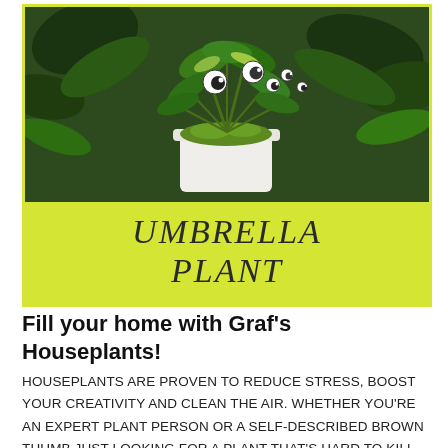[Figure (photo): A potted umbrella plant (Schefflera) with googly eyes attached to leaves, sitting in a white pot, surrounded by green foliage on a dark garden background]
UMBRELLA PLANT
Fill your home with Graf's Houseplants!
HOUSEPLANTS ARE PROVEN TO REDUCE STRESS, BOOST YOUR CREATIVITY AND CLEAN THE AIR. WHETHER YOU'RE AN EXPERT PLANT PERSON OR A SELF-DESCRIBED BROWN THUMB JUST LOOKING FOR A PLANT THAT'S HARD TO KILL, WE HAVE A PLANT FOR YOU!